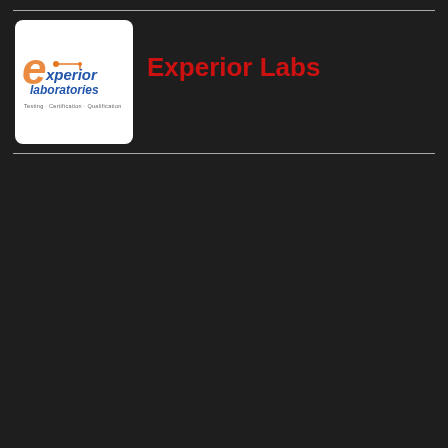[Figure (logo): Experior Laboratories logo — orange 'e' with circuit-trace motif, blue italic text reading 'experior laboratories', small text 'Testing · Certification · Qualification', white rounded-rectangle background]
Experior Labs